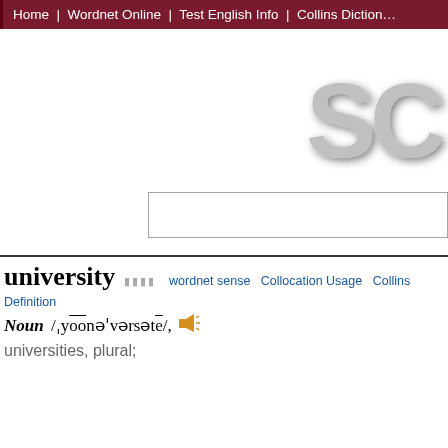Home | Wordnet Online | Test English Info | Collins Diction…
[Figure (logo): Large stylized 'SC' text logo with shadow effect, gray color, partially visible at right edge]
[Figure (screenshot): Search input box with border]
university
wordnet sense  Collocation Usage  Collins Definition
Noun /ˌyōōnəˈvərsətē/,
universities, plural;